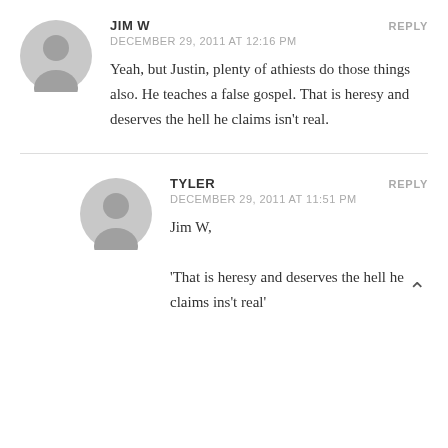JIM W
DECEMBER 29, 2011 AT 12:16 PM
REPLY
Yeah, but Justin, plenty of athiests do those things also. He teaches a false gospel. That is heresy and deserves the hell he claims isn't real.
TYLER
DECEMBER 29, 2011 AT 11:51 PM
REPLY
Jim W,
'That is heresy and deserves the hell he claims ins't real'